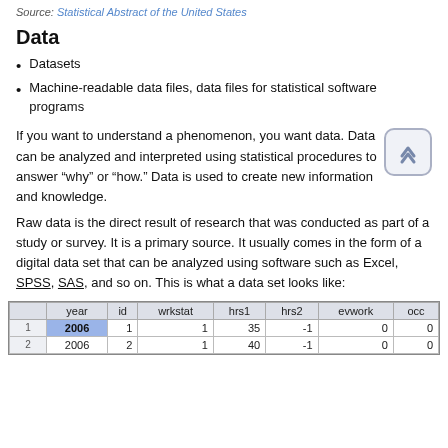Source: Statistical Abstract of the United States
Data
Datasets
Machine-readable data files, data files for statistical software programs
If you want to understand a phenomenon, you want data. Data can be analyzed and interpreted using statistical procedures to answer “why” or “how.” Data is used to create new information and knowledge.
Raw data is the direct result of research that was conducted as part of a study or survey. It is a primary source. It usually comes in the form of a digital data set that can be analyzed using software such as Excel, SPSS, SAS, and so on. This is what a data set looks like:
|  | year | id | wrkstat | hrs1 | hrs2 | evwork | occ |
| --- | --- | --- | --- | --- | --- | --- | --- |
| 1 | 2006 | 1 | 1 | 35 | -1 | 0 | 0 |
| 2 | 2006 | 2 | 1 | 40 | -1 | 0 | 0 |